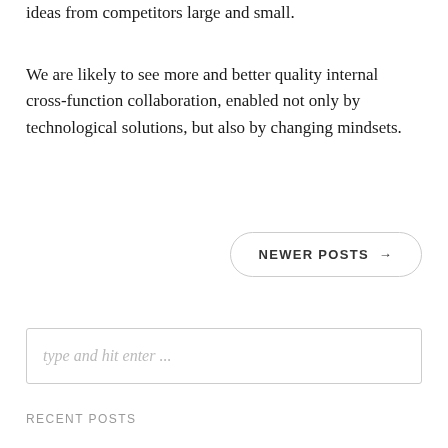ideas from competitors large and small.
We are likely to see more and better quality internal cross-function collaboration, enabled not only by technological solutions, but also by changing mindsets.
NEWER POSTS →
type and hit enter ...
RECENT POSTS